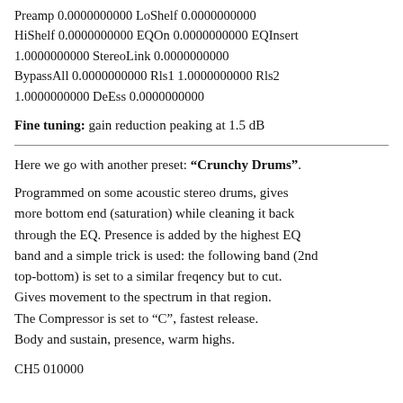Preamp 0.0000000000 LoShelf 0.0000000000 HiShelf 0.0000000000 EQOn 0.0000000000 EQInsert 1.0000000000 StereoLink 0.0000000000 BypassAll 0.0000000000 Rls1 1.0000000000 Rls2 1.0000000000 DeEss 0.0000000000
Fine tuning: gain reduction peaking at 1.5 dB
Here we go with another preset: “Crunchy Drums”.
Programmed on some acoustic stereo drums, gives more bottom end (saturation) while cleaning it back through the EQ. Presence is added by the highest EQ band and a simple trick is used: the following band (2nd top-bottom) is set to a similar freqency but to cut. Gives movement to the spectrum in that region. The Compressor is set to “C”, fastest release. Body and sustain, presence, warm highs.
CH5 010000